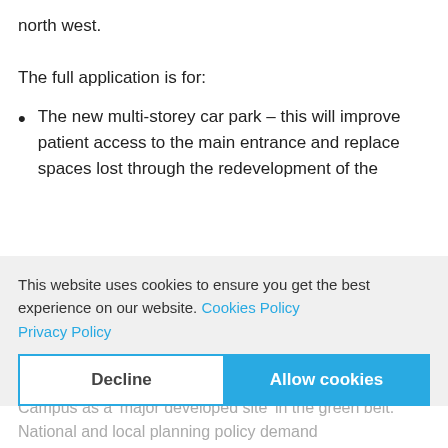north west.
The full application is for:
The new multi-storey car park – this will improve patient access to the main entrance and replace spaces lost through the redevelopment of the west site
The extension to the main hospital reception area which will link to the new car park and will improve the entrance and waiting areas for patients and visitors.
This website uses cookies to ensure you get the best experience on our website. Cookies Policy
Privacy Policy
Local Plan policies designate St Peter's Healthcare Campus as a 'major developed site' in the green belt. National and local planning policy demand